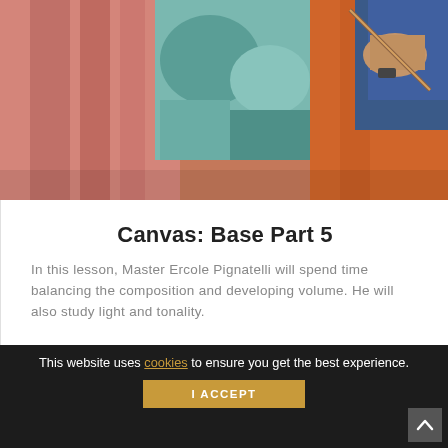[Figure (photo): A person painting on a canvas with a brush, colorful artwork visible with pinks, teals and orange in background]
Canvas: Base Part 5
In this lesson, Master Ercole Pignatelli will spend time balancing the composition and developing volume. He will also study light and tonality.
This website uses cookies to ensure you get the best experience.
I ACCEPT